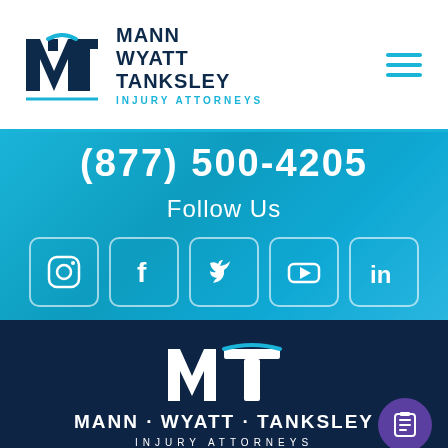[Figure (logo): Mann Wyatt Tanksley Injury Attorneys logo - MWT monogram in dark navy with cyan accent bar, with firm name text]
[Figure (infographic): Phone number (877) 500-4205 displayed in white on blue background, Follow Us text, and 5 social media icons (Instagram, Facebook, Twitter, YouTube, LinkedIn) with rounded square borders on cyan/blue gradient background]
[Figure (logo): Mann Wyatt Tanksley Injury Attorneys logo in white on dark navy background, large MWT monogram with dots between names]